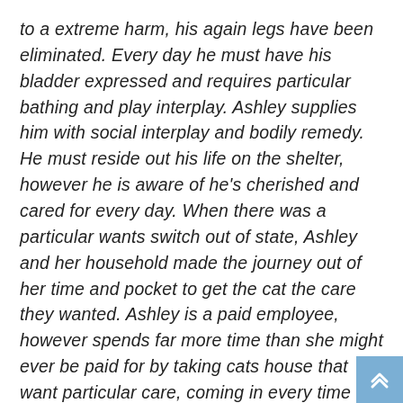to a extreme harm, his again legs have been eliminated. Every day he must have his bladder expressed and requires particular bathing and play interplay. Ashley supplies him with social interplay and bodily remedy. He must reside out his life on the shelter, however he is aware of he's cherished and cared for every day. When there was a particular wants switch out of state, Ashley and her household made the journey out of her time and pocket to get the cat the care they wanted. Ashley is a paid employee, however spends far more time than she might ever be paid for by taking cats house that want particular care, coming in every time wanted and dropping issues simply to assist out. Ashley has helped design and handle occasions to assist elevate funds and discover new methods to assist the cats and the clinic. Ashley additionally dedicates her free time